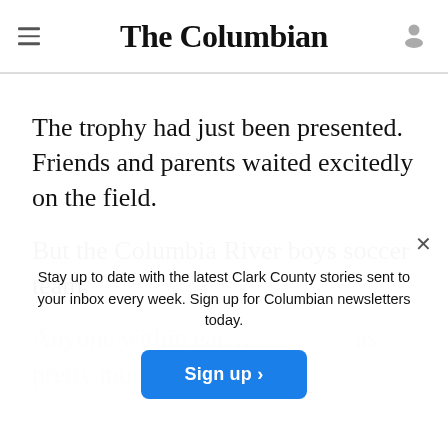The Columbian
The trophy had just been presented. Friends and parents waited excitedly on the field.
But the Columbia River boys soccer team
Stay up to date with the latest Clark County stories sent to your inbox every week. Sign up for Columbian newsletters today.